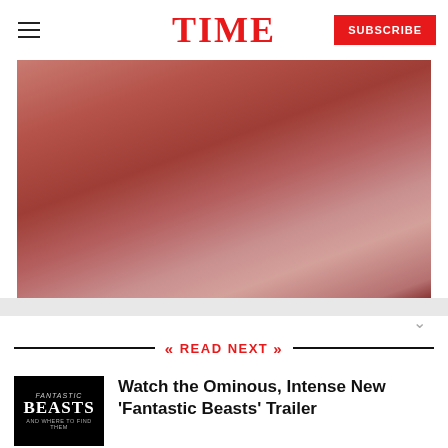TIME  SUBSCRIBE
[Figure (photo): Blurred reddish-pink photo, likely a close-up scene, background of an article on Time.com]
READ NEXT
Watch the Ominous, Intense New 'Fantastic Beasts' Trailer